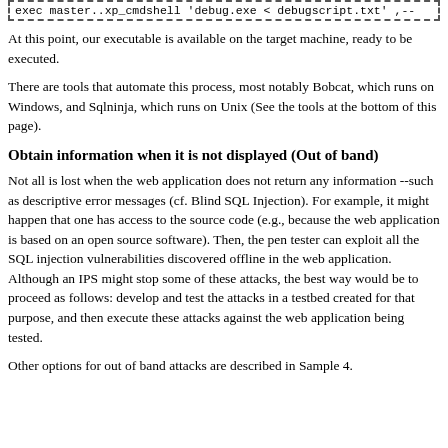[Figure (screenshot): Code box with dashed border showing SQL command: exec master..xp_cmdshell 'debug.exe < debugscript.txt' ,--]
At this point, our executable is available on the target machine, ready to be executed.
There are tools that automate this process, most notably Bobcat, which runs on Windows, and Sqlninja, which runs on Unix (See the tools at the bottom of this page).
Obtain information when it is not displayed (Out of band)
Not all is lost when the web application does not return any information --such as descriptive error messages (cf. Blind SQL Injection). For example, it might happen that one has access to the source code (e.g., because the web application is based on an open source software). Then, the pen tester can exploit all the SQL injection vulnerabilities discovered offline in the web application. Although an IPS might stop some of these attacks, the best way would be to proceed as follows: develop and test the attacks in a testbed created for that purpose, and then execute these attacks against the web application being tested.
Other options for out of band attacks are described in Sample 4.